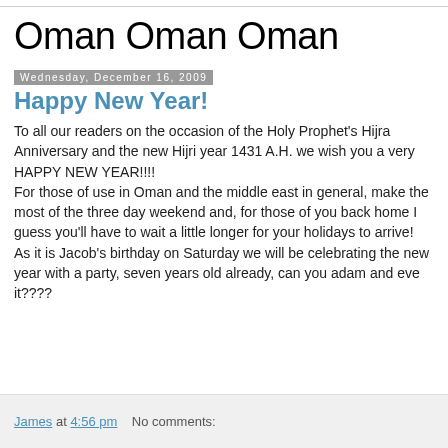Oman Oman Oman
Wednesday, December 16, 2009
Happy New Year!
To all our readers on the occasion of the Holy Prophet's Hijra Anniversary and the new Hijri year 1431 A.H. we wish you a very HAPPY NEW YEAR!!!!
For those of use in Oman and the middle east in general, make the most of the three day weekend and, for those of you back home I guess you'll have to wait a little longer for your holidays to arrive!
As it is Jacob's birthday on Saturday we will be celebrating the new year with a party, seven years old already, can you adam and eve it????
James at 4:56 pm    No comments: